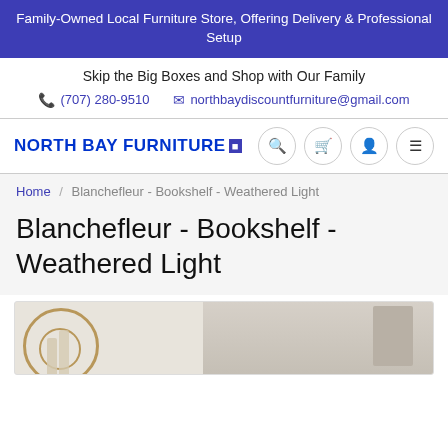Family-Owned Local Furniture Store, Offering Delivery & Professional Setup
Skip the Big Boxes and Shop with Our Family
(707) 280-9510   northbaydiscountfurniture@gmail.com
[Figure (logo): North Bay Furniture logo with blue and red text and blue square icon]
Home / Blanchefleur - Bookshelf - Weathered Light
Blanchefleur - Bookshelf - Weathered Light
[Figure (photo): Partial view of a bookshelf product photo showing decorative items including circular woven objects and candles]